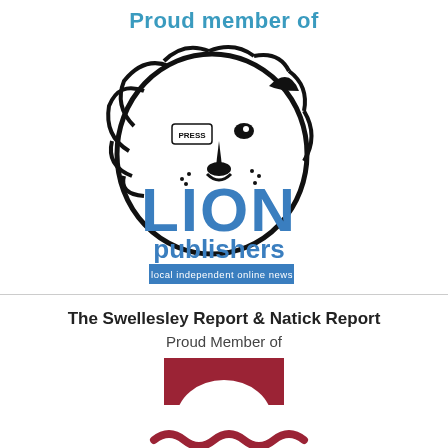Proud member of
[Figure (logo): LION Publishers logo - Local Independent Online News - featuring a lion illustration with 'PRESS' badge and bold blue 'LION publishers' text with 'local independent online news' tagline]
The Swellesley Report & Natick Report
Proud Member of
[Figure (logo): Partial logo showing a dark red/maroon arch shape on top and wavy lines below, resembling a membership organization emblem]